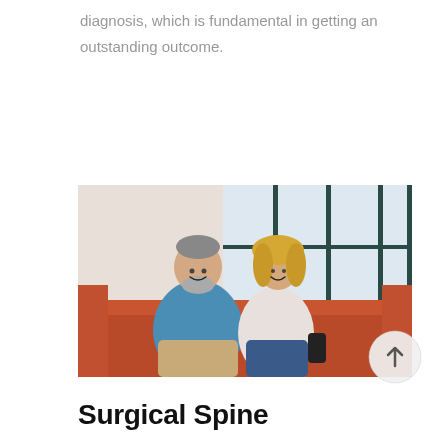diagnosis, which is fundamental in getting an outstanding outcome.
[Figure (photo): Middle-aged couple sitting on a red leather sofa, smiling and watching TV together, with large industrial-style windows in the background. The man has gray hair and a beard, wearing a blue shirt; the woman is blonde, wearing a white top and jeans, holding a remote control.]
Surgical Spine